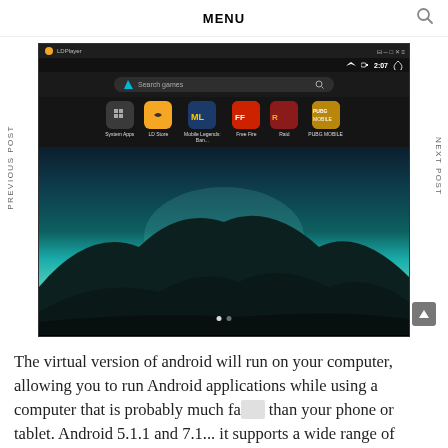MENU
[Figure (screenshot): LDPlayer Android emulator window showing app icons including System Apps, LD Store, Mobile Legends: Ban..., Free Fire, Raid, PUBG MOBILE over a mountain landscape background with teal/dark gradient sky]
The virtual version of android will run on your computer, allowing you to run Android applications while using a computer that is probably much faster than your phone or tablet. Android 5.1.1 and 7.1... it supports a wide range of compatibility in running